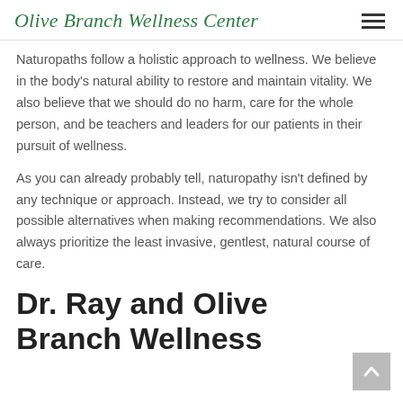Olive Branch Wellness Center
Naturopaths follow a holistic approach to wellness. We believe in the body's natural ability to restore and maintain vitality. We also believe that we should do no harm, care for the whole person, and be teachers and leaders for our patients in their pursuit of wellness.
As you can already probably tell, naturopathy isn't defined by any technique or approach. Instead, we try to consider all possible alternatives when making recommendations. We also always prioritize the least invasive, gentlest, natural course of care.
Dr. Ray and Olive Branch Wellness